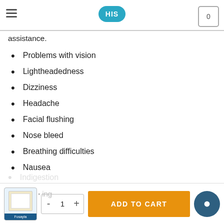HIS | 0
acclimatizes to the change. However, if you feel they worsen over time or cause distress to normal functioning, contact your doctor for medical assistance.
Problems with vision
Lightheadedness
Dizziness
Headache
Facial flushing
Nose bleed
Breathing difficulties
Nausea
Indigestion
ADD TO CART | qty: 1